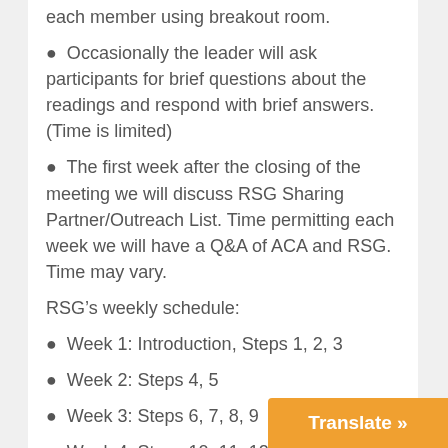each member using breakout room.
Occasionally the leader will ask participants for brief questions about the readings and respond with brief answers. (Time is limited)
The first week after the closing of the meeting we will discuss RSG Sharing Partner/Outreach List. Time permitting each week we will have a Q&A of ACA and RSG. Time may vary.
RSG’s weekly schedule:
Week 1: Introduction, Steps 1, 2, 3
Week 2: Steps 4, 5
Week 3: Steps 6, 7, 8, 9
Week 4: Steps 10, 11, 12
Week 5: Part 1 – RSG Inner Child